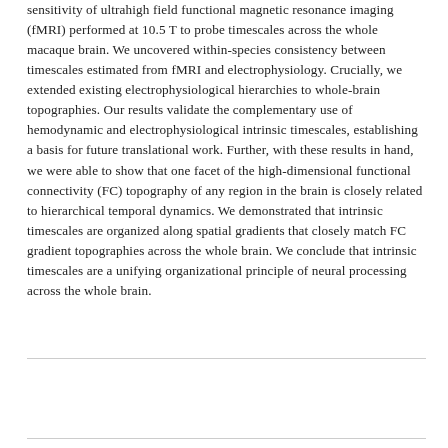sensitivity of ultrahigh field functional magnetic resonance imaging (fMRI) performed at 10.5 T to probe timescales across the whole macaque brain. We uncovered within-species consistency between timescales estimated from fMRI and electrophysiology. Crucially, we extended existing electrophysiological hierarchies to whole-brain topographies. Our results validate the complementary use of hemodynamic and electrophysiological intrinsic timescales, establishing a basis for future translational work. Further, with these results in hand, we were able to show that one facet of the high-dimensional functional connectivity (FC) topography of any region in the brain is closely related to hierarchical temporal dynamics. We demonstrated that intrinsic timescales are organized along spatial gradients that closely match FC gradient topographies across the whole brain. We conclude that intrinsic timescales are a unifying organizational principle of neural processing across the whole brain.
| Original language |  |
| --- | --- |
| English (US) |  |
| Article number |  |